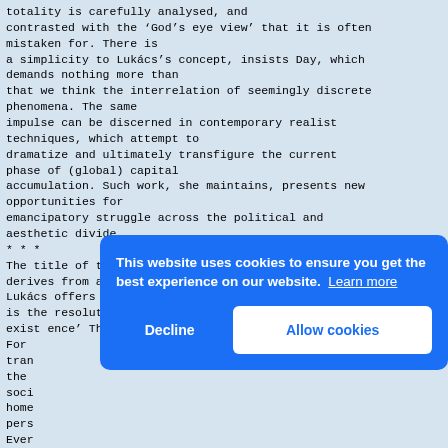totality is carefully analysed, and
contrasted with the ‘God’s eye view’ that it is often
mistaken for. There is
a simplicity to Lukács’s concept, insists Day, which
demands nothing more than
that we think the interrelation of seemingly discrete
phenomena. The same
impulse can be discerned in contemporary realist
techniques, which attempt to
dramatize and ultimately transfigure the current
phase of (global) capital
accumulation. Such work, she maintains, presents new
opportunities for
emancipatory struggle across the political and
aesthetic divide.
***
The title of this book, and its point of departure,
derives from a formula that
Lukács offers in The Theory of the Novel: ‘Every form
is the resolution of a fundamental dissonance of
existence ’ The full passage reads as follows:
For
tran
the
soci
home
pers
Ever
diss
form
vehi
condition of meaning. (61–2)
Formly... [partially obscured]
[Figure (screenshot): Cookie consent banner overlay with blue background. Text reads: 'This website uses cookies to ensure you get the best experience on our website. Learn more' with 'Decline' and 'Allow cookies' buttons.]